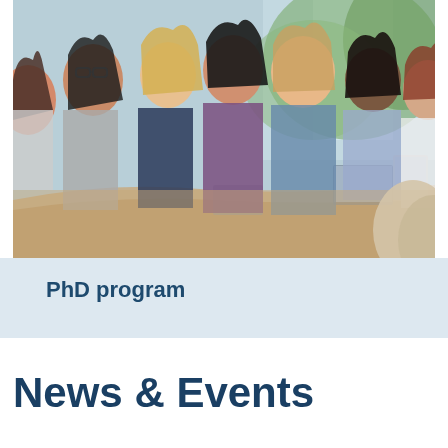[Figure (photo): A group of diverse university students sitting at a long desk in a classroom or lecture hall, looking forward attentively. Some are using laptops. Natural light comes through large windows in the background.]
PhD program
News & Events